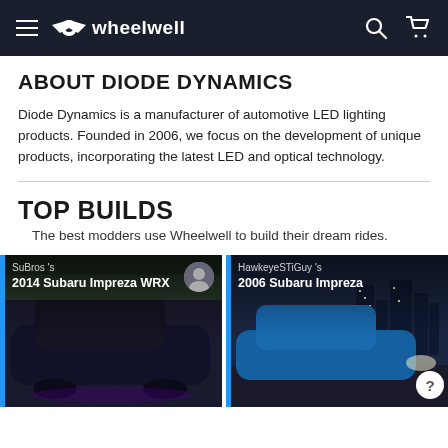wheelwell
ABOUT DIODE DYNAMICS
Diode Dynamics is a manufacturer of automotive LED lighting products. Founded in 2006, we focus on the development of unique products, incorporating the latest LED and optical technology.
TOP BUILDS
The best modders use Wheelwell to build their dream rides.
[Figure (photo): SuBros's 2014 Subaru Impreza WRX - dark blue/purple car photo]
[Figure (photo): HawkeyeSTiGuy's 2006 Subaru Impreza - blue car with city background at dusk]